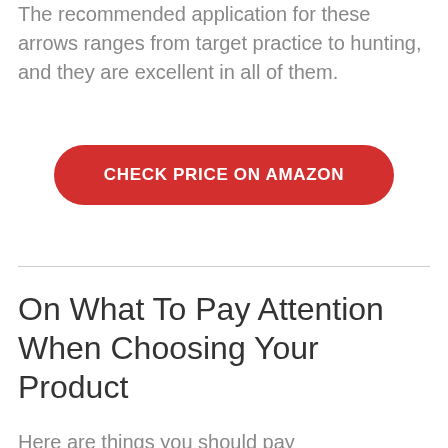The recommended application for these arrows ranges from target practice to hunting, and they are excellent in all of them.
CHECK PRICE ON AMAZON
On What To Pay Attention When Choosing Your Product
Here are things you should pay